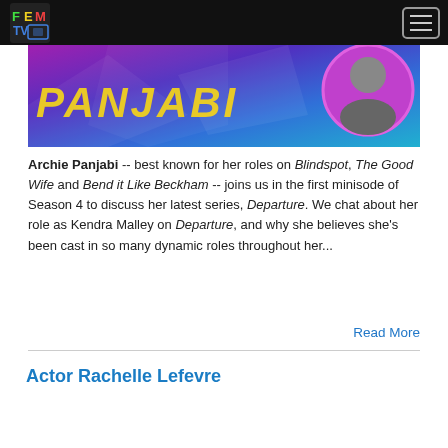FEM TV
[Figure (screenshot): Purple-blue gradient hero image with stylized italic yellow text partially visible, and a circular portrait photo on the right side]
Archie Panjabi -- best known for her roles on Blindspot, The Good Wife and Bend it Like Beckham -- joins us in the first minisode of Season 4 to discuss her latest series, Departure. We chat about her role as Kendra Malley on Departure, and why she believes she's been cast in so many dynamic roles throughout her...
Read More
Actor Rachelle Lefevre